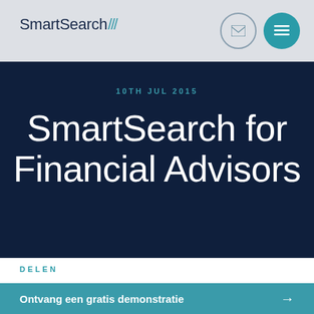SmartSearch
10TH JUL 2015
SmartSearch for Financial Advisors
DELEN
Ontvang een gratis demonstratie →